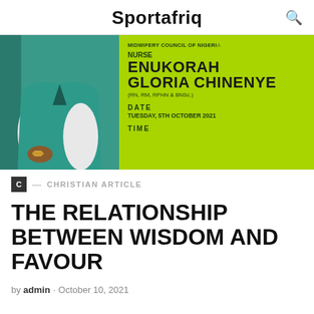Sportafriq
[Figure (photo): A nurse in teal scrubs on the left, and a green banner on the right showing: MIDWIFERY COUNCIL OF NIGERIA, NURSE ENUKORAH GLORIA CHINENYE (RN, RM, RPHN & BNSc.), DATE TUESDAY, 5TH OCTOBER 2021, TIME]
C — CHRISTIAN ARTICLE
THE RELATIONSHIP BETWEEN WISDOM AND FAVOUR
by admin · October 10, 2021